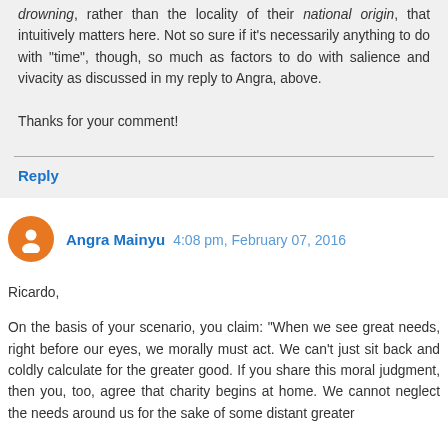drowning, rather than the locality of their national origin, that intuitively matters here. Not so sure if it's necessarily anything to do with "time", though, so much as factors to do with salience and vivacity as discussed in my reply to Angra, above.

Thanks for your comment!
Reply
Angra Mainyu  4:08 pm, February 07, 2016
Ricardo,

On the basis of your scenario, you claim: "When we see great needs, right before our eyes, we morally must act. We can't just sit back and coldly calculate for the greater good. If you share this moral judgment, then you, too, agree that charity begins at home. We cannot neglect the needs around us for the sake of some distant greater